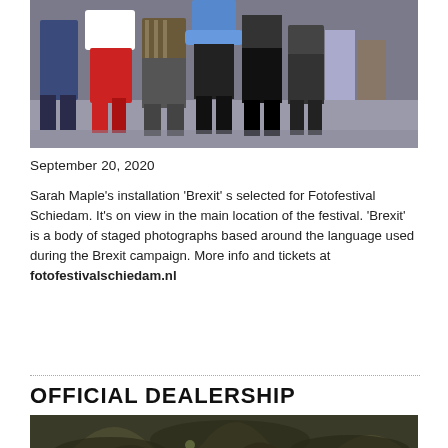[Figure (photo): Group of people standing together outdoors, including a woman in red trousers and a man in a plaid shirt, photographed from the waist down to full body.]
September 20, 2020
Sarah Maple's installation 'Brexit' s selected for Fotofestival Schiedam. It's on view in the main location of the festival. 'Brexit' is a body of staged photographs based around the language used during the Brexit campaign. More info and tickets at fotofestivalschiedam.nl
OFFICIAL DEALERSHIP
[Figure (photo): Close-up photo of tree bark or roots with dark olive-green and brown tones.]